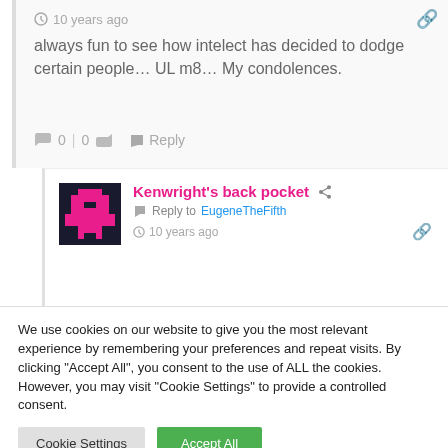10 years ago
always fun to see how intelect has decided to dodge certain people… UL m8… My condolences.
0 | 0   Reply
Kenwright's back pocket
Reply to EugeneTheFifth
10 years ago
We use cookies on our website to give you the most relevant experience by remembering your preferences and repeat visits. By clicking "Accept All", you consent to the use of ALL the cookies. However, you may visit "Cookie Settings" to provide a controlled consent.